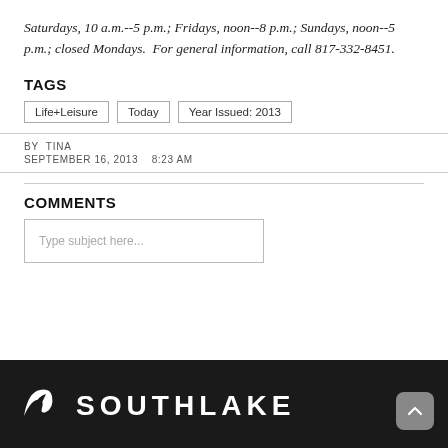Saturdays, 10 a.m.--5 p.m.; Fridays, noon--8 p.m.; Sundays, noon--5 p.m.; closed Mondays.  For general information, call 817-332-8451.
TAGS
Life+Leisure
Today
Year Issued: 2013
BY TINA
SEPTEMBER 16, 2013   8:23 AM
COMMENTS
Type subject here...
SOUTHLAKE